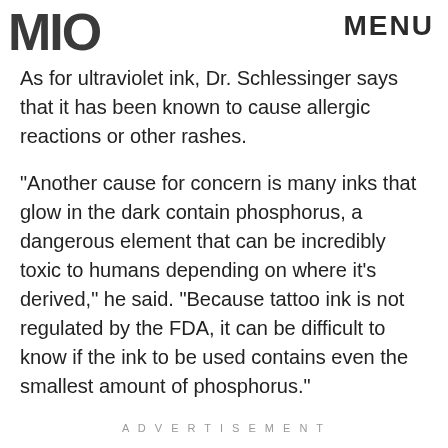MIO  MENU
As for ultraviolet ink, Dr. Schlessinger says that it has been known to cause allergic reactions or other rashes.
"Another cause for concern is many inks that glow in the dark contain phosphorus, a dangerous element that can be incredibly toxic to humans depending on where it's derived," he said. "Because tattoo ink is not regulated by the FDA, it can be difficult to know if the ink to be used contains even the smallest amount of phosphorus."
ADVERTISEMENT